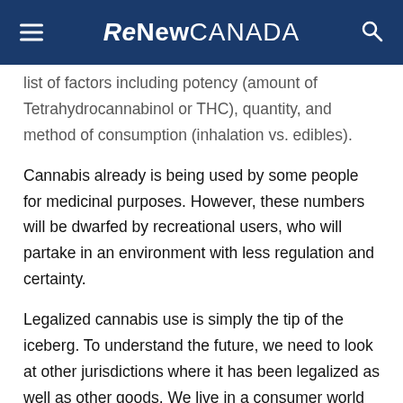ReNew CANADA
list of factors including potency (amount of Tetrahydrocannabinol or THC), quantity, and method of consumption (inhalation vs. edibles).
Cannabis already is being used by some people for medicinal purposes. However, these numbers will be dwarfed by recreational users, who will partake in an environment with less regulation and certainty.
Legalized cannabis use is simply the tip of the iceberg. To understand the future, we need to look at other jurisdictions where it has been legalized as well as other goods. We live in a consumer world where customization is the rule not the exception. In cannabis, with more than 100 chemical compounds called cannabinoids, the legalized